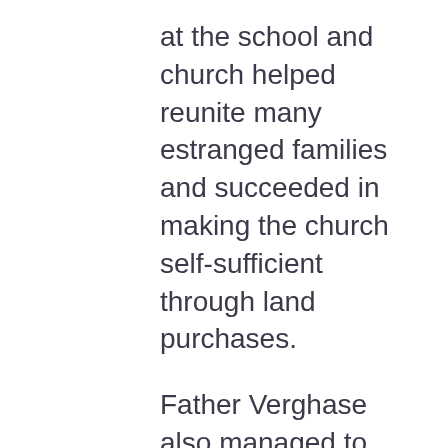at the school and church helped reunite many estranged families and succeeded in making the church self-sufficient through land purchases.
Father Verghase also managed to acquire land for the construction of St. Joseph's Syro-Malabar Catholic Church. He remained there until 1929. It was reported that during Father Varghese's tenure there, vocations to the priesthood